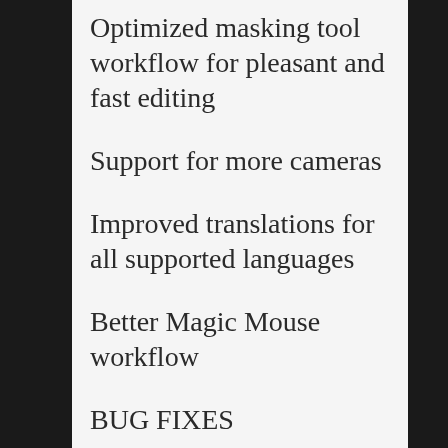Optimized masking tool workflow for pleasant and fast editing
Support for more cameras
Improved translations for all supported languages
Better Magic Mouse workflow
BUG FIXES
Thanks to feedback from Luminar Artists and more, the